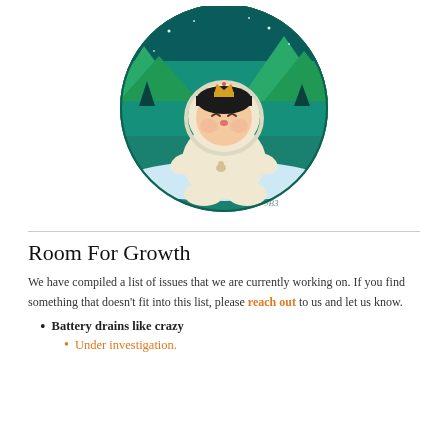[Figure (illustration): Cute baby character in a cream snowsuit with a gold crown, sitting cross-legged with eyes closed and puckered lips, set against a circular teal background with green mountains and stars.]
Room For Growth
We have compiled a list of issues that we are currently working on. If you find something that doesn't fit into this list, please reach out to us and let us know.
Battery drains like crazy
Under investigation.